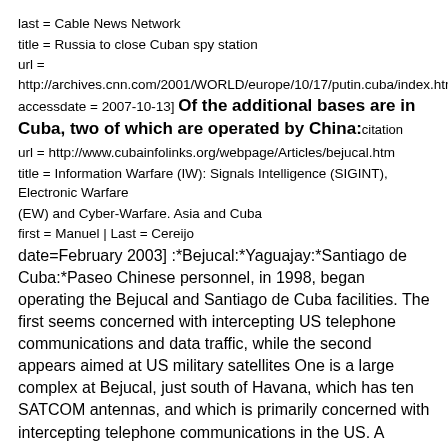last = Cable News Network
title = Russia to close Cuban spy station
url = http://archives.cnn.com/2001/WORLD/europe/10/17/putin.cuba/index.html
accessdate = 2007-10-13] Of the additional bases are in Cuba, two of which are operated by China:citation
url = http://www.cubainfolinks.org/webpage/Articles/bejucal.htm
title = Information Warfare (IW): Signals Intelligence (SIGINT), Electronic Warfare (EW) and Cyber-Warfare. Asia and Cuba
first = Manuel | Last = Cereijo
date=February 2003] :*Bejucal:*Yaguajay:*Santiago de Cuba:*Paseo Chinese personnel, in 1998, began operating the Bejucal and Santiago de Cuba facilities. The first seems concerned with intercepting US telephone communications and data traffic, while the second appears aimed at US military satellites One is a large complex at Bejucal, just south of Havana, which has ten SATCOM antennas, and which is primarily concerned with intercepting telephone communications in the US. A 'cyber-warfare' unit at the station focuses on computer data traffic. The second is located northeast of Santiago de Cuba at the eastern-most part of the country and is 'dedicated mainly to intercepting U.S. military satellite